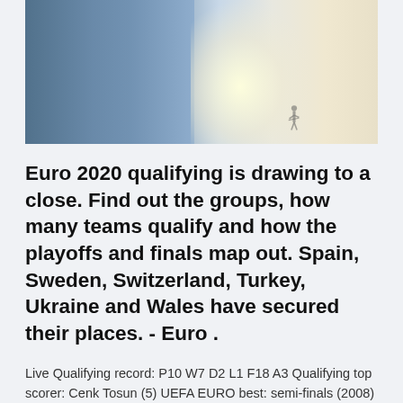[Figure (photo): Outdoor photo split scene: left side shows urban buildings with blue-grey tones, right side shows a bright hazy beach scene with a surfer silhouette walking on shore.]
Euro 2020 qualifying is drawing to a close. Find out the groups, how many teams qualify and how the playoffs and finals map out. Spain, Sweden, Switzerland, Turkey, Ukraine and Wales have secured their places. - Euro .
Live Qualifying record: P10 W7 D2 L1 F18 A3 Qualifying top scorer: Cenk Tosun (5) UEFA EURO best: semi-finals (2008) UEFA EURO 2016: group stage Highlights: Turkey 2-0 France Turkey EURO 2020 schedule. 11.06,